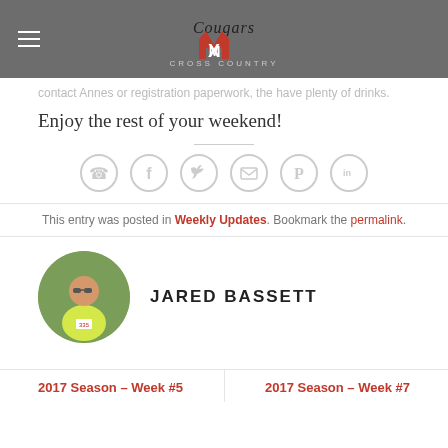Cougars M Cross Country
...contact Annes or registration paperwork, the have plenty of drinks.
Enjoy the rest of your weekend!
[Figure (infographic): Social sharing icons row: WhatsApp, Facebook, Twitter, Email, Pinterest, LinkedIn — grey circle outlines]
This entry was posted in Weekly Updates. Bookmark the permalink.
[Figure (photo): Circular profile photo of Jared Bassett, a person in a yellow tank top and sunglasses running in a race]
JARED BASSETT
2017 Season – Week #5
2017 Season – Week #7